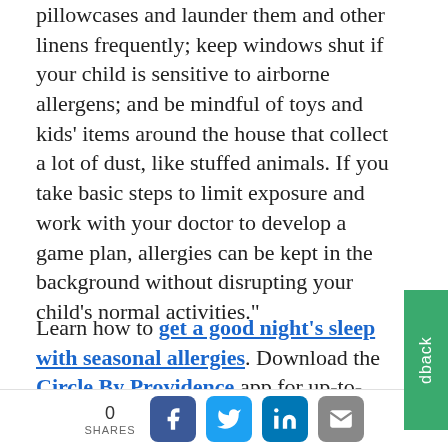pillowcases and launder them and other linens frequently; keep windows shut if your child is sensitive to airborne allergens; and be mindful of toys and kids' items around the house that collect a lot of dust, like stuffed animals. If you take basic steps to limit exposure and work with your doctor to develop a game plan, allergies can be kept in the background without disrupting your child's normal activities."
Learn how to get a good night's sleep with seasonal allergies. Download the Circle By Providence app for up-to-date, provider-approved answers to common questions about raising healthy kids.
[Figure (other): Green feedback tab on right side of page]
0 SHARES [Facebook] [Twitter] [LinkedIn] [Email]